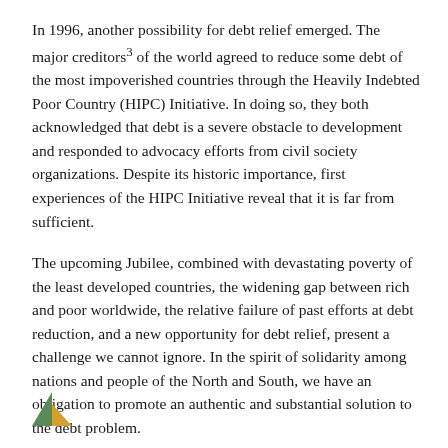In 1996, another possibility for debt relief emerged. The major creditors³ of the world agreed to reduce some debt of the most impoverished countries through the Heavily Indebted Poor Country (HIPC) Initiative. In doing so, they both acknowledged that debt is a severe obstacle to development and responded to advocacy efforts from civil society organizations. Despite its historic importance, first experiences of the HIPC Initiative reveal that it is far from sufficient.
The upcoming Jubilee, combined with devastating poverty of the least developed countries, the widening gap between rich and poor worldwide, the relative failure of past efforts at debt reduction, and a new opportunity for debt relief, present a challenge we cannot ignore. In the spirit of solidarity among nations and people of the North and South, we have an obligation to promote an authentic and substantial solution to the debt problem.
[Figure (logo): Small triangular logo in green and yellow/orange colors at the bottom left of the page]